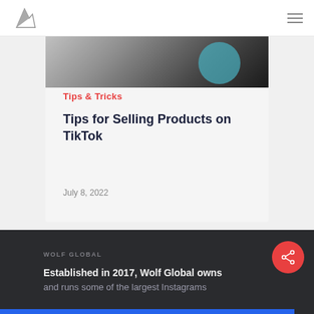Wolf Global logo and navigation bar
[Figure (photo): Partial photo of people visible at top of article card, appears to show individuals with dark background]
Tips & Tricks
Tips for Selling Products on TikTok
July 8, 2022
WOLF GLOBAL
Established in 2017, Wolf Global owns and runs some of the largest Instagrams